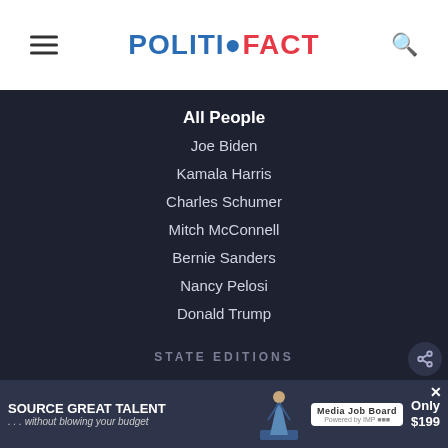POLITIFACT
All People
Joe Biden
Kamala Harris
Charles Schumer
Mitch McConnell
Bernie Sanders
Nancy Pelosi
Donald Trump
STATE EDITIONS
California
Florida
Illinois
[Figure (other): Advertisement banner: SOURCE GREAT TALENT ...without blowing your budget, Media Job Board, Only $199]